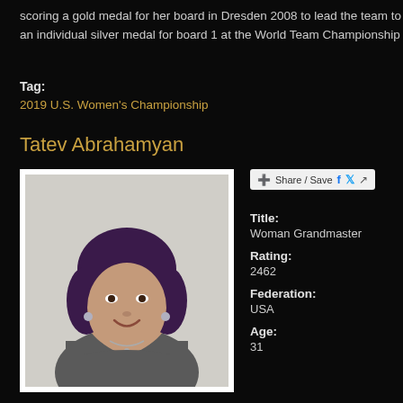scoring a gold medal for her board in Dresden 2008 to lead the team to an individual silver medal for board 1 at the World Team Championship
Tag:
2019 U.S. Women's Championship
Tatev Abrahamyan
[Figure (photo): Portrait photo of Tatev Abrahamyan, a woman with purple hair wearing a gray sweater, smiling at the camera against a white background.]
Share / Save
Title:
Woman Grandmaster
Rating:
2462
Federation:
USA
Age:
31